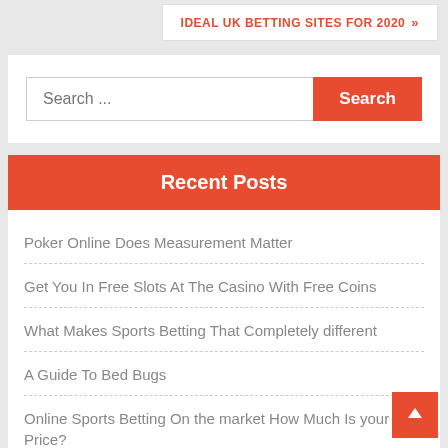IDEAL UK BETTING SITES FOR 2020 »
Search ...
Recent Posts
Poker Online Does Measurement Matter
Get You In Free Slots At The Casino With Free Coins
What Makes Sports Betting That Completely different
A Guide To Bed Bugs
Online Sports Betting On the market How Much Is your Price?